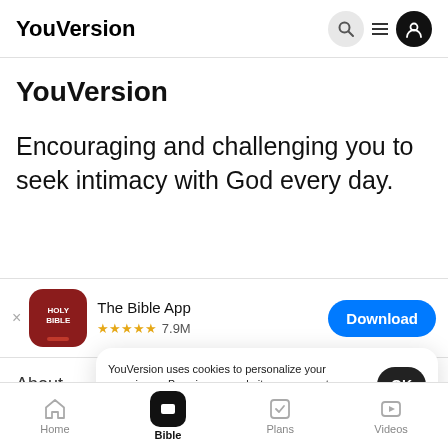YouVersion
YouVersion
Encouraging and challenging you to seek intimacy with God every day.
[Figure (screenshot): The Bible App download banner with red Holy Bible icon, 5 stars, 7.9M ratings, and a blue Download button]
YouVersion uses cookies to personalize your experience. By using our website, you accept our use of cookies as described in our Privacy Policy.
About
Careers
Home | Bible | Plans | Videos